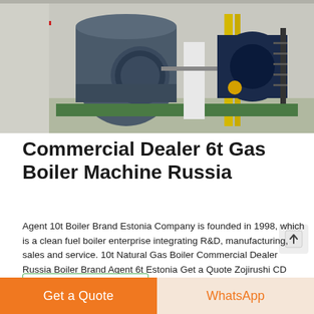[Figure (photo): Industrial gas boilers in a factory setting. Two large cylindrical dark blue boiler units visible with yellow piping and metal staircases in background.]
Commercial Dealer 6t Gas Boiler Machine Russia
Agent 10t Boiler Brand Estonia Company is founded in 1998, which is a clean fuel boiler enterprise integrating R&D, manufacturing, sales and service. 10t Natural Gas Boiler Commercial Dealer Russia Boiler Brand Agent 6t Estonia Get a Quote Zojirushi CD